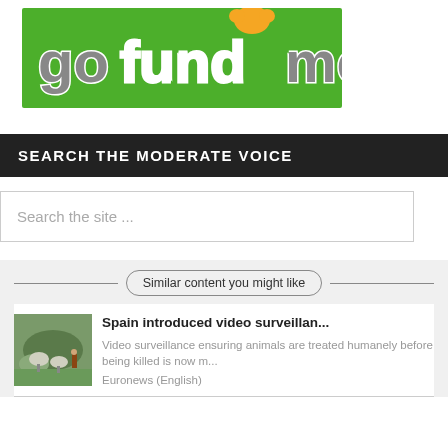[Figure (logo): GoFundMe logo on green background with orange paw print icon]
SEARCH THE MODERATE VOICE
Search the site ...
Similar content you might like
Spain introduced video surveillan...
Video surveillance ensuring animals are treated humanely before being killed is now m...
Euronews (English)